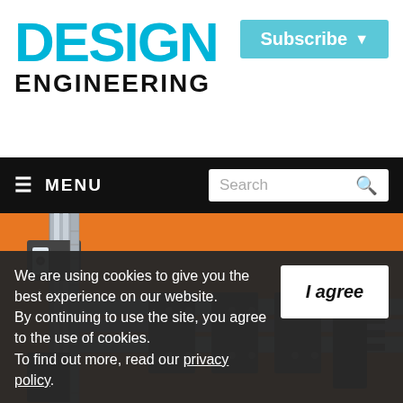DESIGN ENGINEERING
[Figure (screenshot): Subscribe button with dropdown arrow in light blue/teal color]
≡ MENU   Search
[Figure (photo): Orange background hero image showing a linear motion / actuator mechanical assembly (aluminum rails, carriages, mounting blocks) with large white partial text 'autom' visible at the bottom]
We are using cookies to give you the best experience on our website. By continuing to use the site, you agree to the use of cookies. To find out more, read our privacy policy.
[Figure (other): I agree button (white button with bold italic text)]